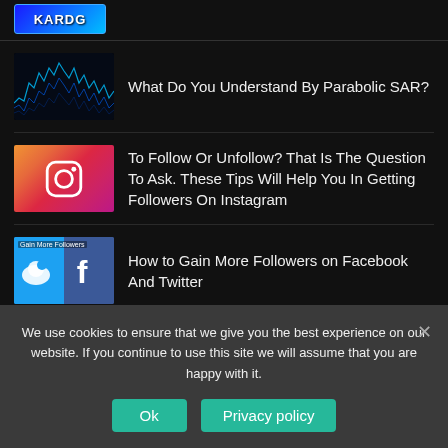KARDG
[Figure (photo): Dark stock market chart graphic with blue waveform lines]
What Do You Understand By Parabolic SAR?
[Figure (photo): Instagram logo with gradient pink/purple background]
To Follow Or Unfollow? That Is The Question To Ask. These Tips Will Help You In Getting Followers On Instagram
[Figure (photo): Twitter and Facebook logos side by side with text 'Gain More Followers']
How to Gain More Followers on Facebook And Twitter
About
We use cookies to ensure that we give you the best experience on our website. If you continue to use this site we will assume that you are happy with it.